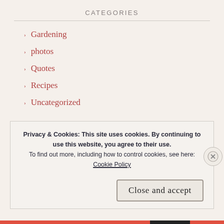CATEGORIES
Gardening
photos
Quotes
Recipes
Uncategorized
TAGS
Privacy & Cookies: This site uses cookies. By continuing to use this website, you agree to their use.
To find out more, including how to control cookies, see here: Cookie Policy
Close and accept